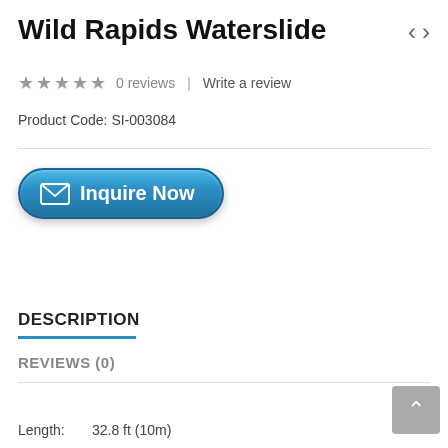Wild Rapids Waterslide
0 reviews  |  Write a review
Product Code: SI-003084
[Figure (other): Blue rounded 'Inquire Now' button with envelope icon]
DESCRIPTION
REVIEWS (0)
Length:        32.8 ft (10m)